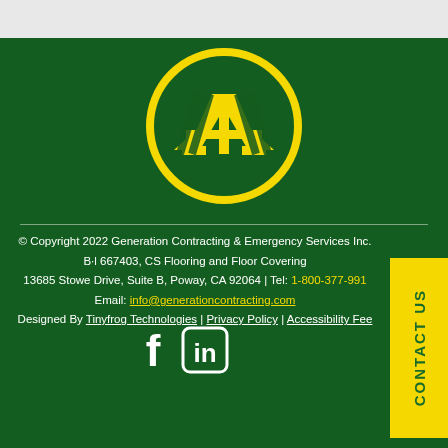[Figure (logo): Generation Contracting circular yellow logo with stylized house/roof shape in the center, on a dark green background overlay]
© Copyright 2022 Generation Contracting & Emergency Services Inc. B·l 667403, CS Flooring and Floor Covering
13685 Stowe Drive, Suite B, Poway, CA 92064 | Tel: 1-800-377-991
Email: info@generationcontracting.com
Designed By Tinyfrog Technologies | Privacy Policy | Accessibility Fee
[Figure (illustration): Facebook and LinkedIn social media icons in white]